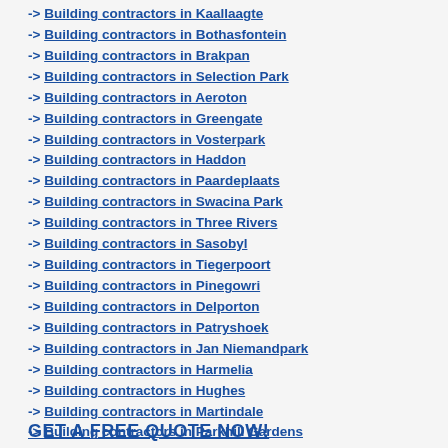-> Building contractors in Kaallaagte
-> Building contractors in Bothasfontein
-> Building contractors in Brakpan
-> Building contractors in Selection Park
-> Building contractors in Aeroton
-> Building contractors in Greengate
-> Building contractors in Vosterpark
-> Building contractors in Haddon
-> Building contractors in Paardeplaats
-> Building contractors in Swacina Park
-> Building contractors in Three Rivers
-> Building contractors in Sasobyl
-> Building contractors in Tiegerpoort
-> Building contractors in Pinegowri
-> Building contractors in Delporton
-> Building contractors in Patryshoek
-> Building contractors in Jan Niemandpark
-> Building contractors in Harmelia
-> Building contractors in Hughes
-> Building contractors in Martindale
-> Building contractors in Parkhill Gardens
-> Building contractors in Balmoral
GET A FREE QUOTE NOW!